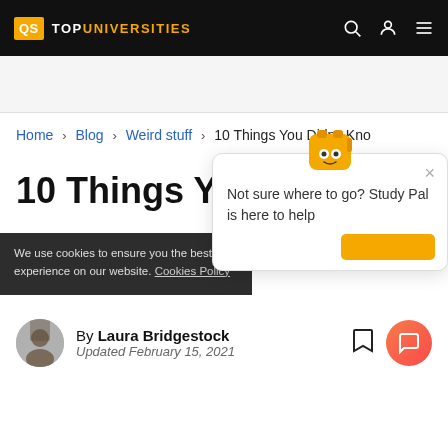QS TOPUNIVERSITIES
Home > Blog > Weird stuff > 10 Things You Didn't Kno...
10 Things You
Not sure where to go? Study Pal is here to help
We use cookies to ensure you the best experience on our website. Cookies Policy
By Laura Bridgestock
Updated February 15, 2021